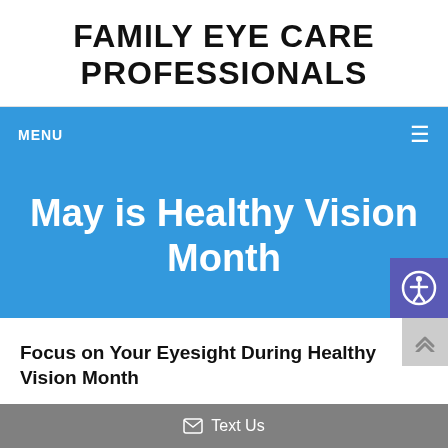FAMILY EYE CARE PROFESSIONALS
MENU ☰
[Figure (infographic): Blue banner with white bold text reading 'May is Healthy Vision Month' and a purple accessibility icon in the bottom right corner]
Focus on Your Eyesight During Healthy Vision Month
✉ Text Us